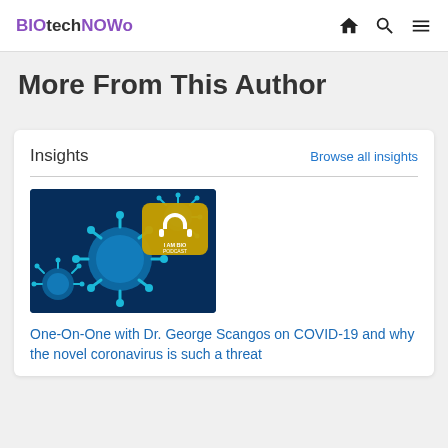BIOtechNOWo
More From This Author
Insights
Browse all insights
[Figure (photo): Microscopic image of coronavirus particles (blue) with a podcast logo overlay featuring headphones and text 'I AM BIO PODCAST']
One-On-One with Dr. George Scangos on COVID-19 and why the novel coronavirus is such a threat